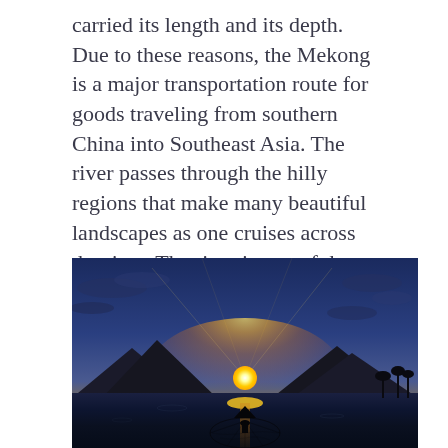carried its length and its depth. Due to these reasons, the Mekong is a major transportation route for goods traveling from southern China into Southeast Asia. The river passes through the hilly regions that make many beautiful landscapes as one cruises across the river. The river is one of the most important for the downstream countries and the source of livelihood for the people living here.
[Figure (photo): A sunset photograph over a wide river with mountains in the background. A fisherman in a conical hat stands in the foreground casting a net into the water. The sky is deep blue with dramatic clouds lit by the golden sunset light reflecting on the river surface.]